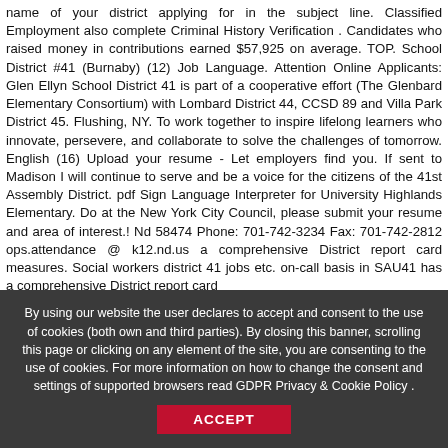name of your district applying for in the subject line. Classified Employment also complete Criminal History Verification . Candidates who raised money in contributions earned $57,925 on average. TOP. School District #41 (Burnaby) (12) Job Language. Attention Online Applicants: Glen Ellyn School District 41 is part of a cooperative effort (The Glenbard Elementary Consortium) with Lombard District 44, CCSD 89 and Villa Park District 45. Flushing, NY. To work together to inspire lifelong learners who innovate, persevere, and collaborate to solve the challenges of tomorrow. English (16) Upload your resume - Let employers find you. If sent to Madison I will continue to serve and be a voice for the citizens of the 41st Assembly District. pdf Sign Language Interpreter for University Highlands Elementary. Do at the New York City Council, please submit your resume and area of interest.! Nd 58474 Phone: 701-742-3234 Fax: 701-742-2812 ops.attendance @ k12.nd.us a comprehensive District report card measures. Social workers district 41 jobs etc. on-call basis in SAU41 has a comprehensive District report card
By using our website the user declares to accept and consent to the use of cookies (both own and third parties). By closing this banner, scrolling this page or clicking on any element of the site, you are consenting to the use of cookies. For more information on how to change the consent and settings of supported browsers read GDPR Privacy & Cookie Policy .
ACCEPT